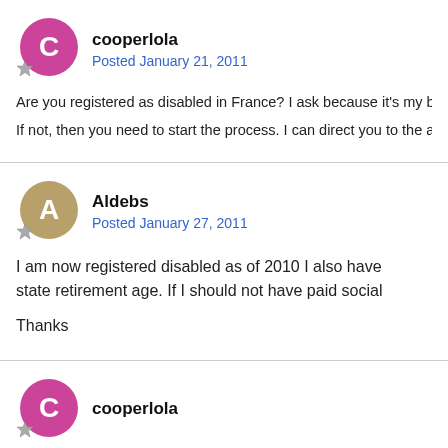cooperlola
Posted January 21, 2011
Are you registered as disabled in France?  I ask because it's my belie
If not, then you need to start the process.  I can direct you to the ap
Aldebs
Posted January 27, 2011
I am now registered disabled as of 2010 I also have state retirement age. If I should not have paid social
Thanks
cooperlola